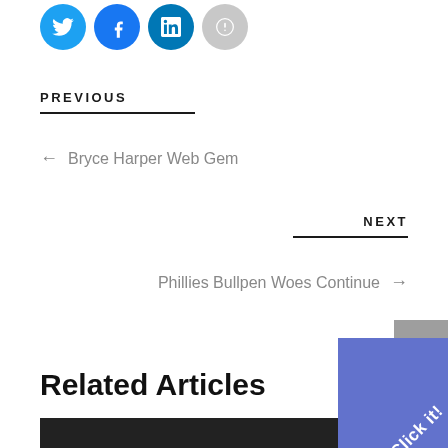[Figure (other): Social media sharing icons: Twitter (blue), Facebook (blue), LinkedIn (blue), and one more (gray), partially visible at top]
PREVIOUS
← Bryce Harper Web Gem
NEXT
Phillies Bullpen Woes Continue →
Related Articles
[Figure (photo): Partially visible thumbnail of a dark photograph at the bottom of the page, with a blue diagonal 'Click it!' banner overlay in the bottom-right corner]